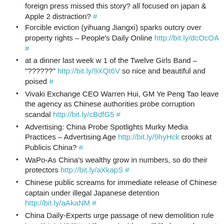foreign press missed this story? all focused on japan & Apple 2 distraction? #
Forcible eviction (yihuang Jiangxi) sparks outcry over property rights – People's Daily Online http://bit.ly/dcOcOA #
at a dinner last week w 1 of the Twelve Girls Band – "??????" http://bit.ly/9XQt6V so nice and beautiful and poised #
Vivaki Exchange CEO Warren Hui, GM Ye Peng Tao leave the agency as Chinese authorities probe corruption scandal http://bit.ly/cBdfG5 #
Advertising: China Probe Spotlights Murky Media Practices – Advertising Age http://bit.ly/9hyHck crooks at Publicis China? #
WaPo-As China's wealthy grow in numbers, so do their protectors http://bit.ly/aXkapS #
Chinese public screams for immediate release of Chinese captain under illegal Japanese detention http://bit.ly/aAkaNM #
China Daily-Experts urge passage of new demolition rule http://bit.ly/dDfBYa Yihuang incident will likely accelerate #
Deng Yaping will probably rise much higher than just People's Daily-Former athletes face stark choices – GlobalTimes http://bit.ly/9OYvBo #
?????????????????_????_??? http://bit.ly/aRAMQK #
???????????? ???????_????_??? http://bit.ly/chX0x6 #